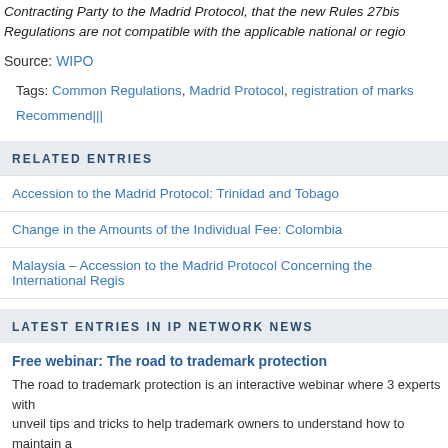Contracting Party to the Madrid Protocol, that the new Rules 27bis Regulations are not compatible with the applicable national or regional
Source: WIPO
Tags: Common Regulations, Madrid Protocol, registration of marks
Recommend|||
RELATED ENTRIES
Accession to the Madrid Protocol: Trinidad and Tobago
Change in the Amounts of the Individual Fee: Colombia
Malaysia – Accession to the Madrid Protocol Concerning the International Regis
LATEST ENTRIES IN IP NETWORK NEWS
Free webinar: The road to trademark protection
The road to trademark protection is an interactive webinar where 3 experts with unveil tips and tricks to help trademark owners to understand how to maintain a